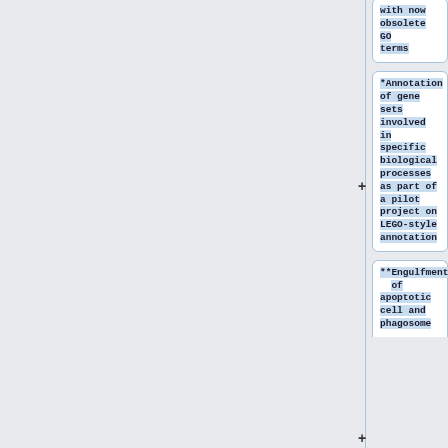with now obsolete GO terms
*Annotation of gene sets involved in specific biological processes as part of a pilot project on LEGO-style annotation
**Engulfment of apoptotic cell and phagosome